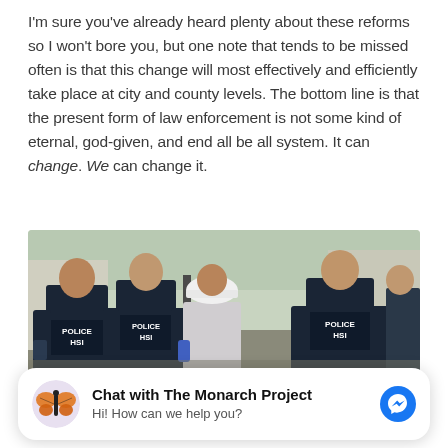I'm sure you've already heard plenty about these reforms so I won't bore you, but one note that tends to be missed often is that this change will most effectively and efficiently take place at city and county levels. The bottom line is that the present form of law enforcement is not some kind of eternal, god-given, and end all be all system. It can change. We can change it.
[Figure (photo): Photo showing three officers in dark tactical vests labeled 'POLICE HSI' escorting a person in a white hard hat and light gray shirt. They are walking away from the camera on a road or parking area, with other figures visible in the background.]
Chat with The Monarch Project
Hi! How can we help you?